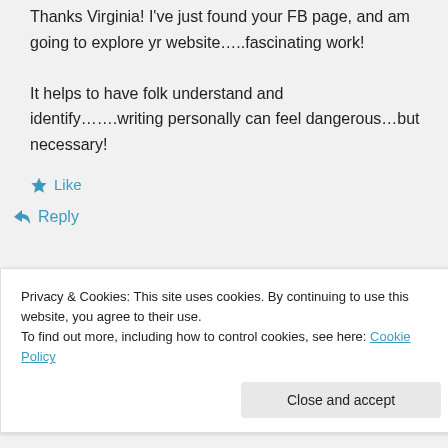Thanks Virginia! I've just found your FB page, and am going to explore yr website…..fascinating work! It helps to have folk understand and identify…….writing personally can feel dangerous…but necessary!
★ Like
↪ Reply
Privacy & Cookies: This site uses cookies. By continuing to use this website, you agree to their use. To find out more, including how to control cookies, see here: Cookie Policy
Close and accept